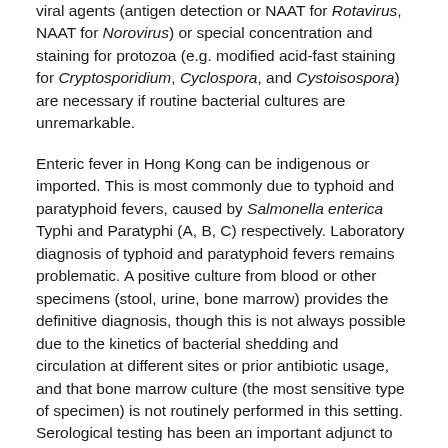viral agents (antigen detection or NAAT for Rotavirus, NAAT for Norovirus) or special concentration and staining for protozoa (e.g. modified acid-fast staining for Cryptosporidium, Cyclospora, and Cystoisospora) are necessary if routine bacterial cultures are unremarkable.
Enteric fever in Hong Kong can be indigenous or imported. This is most commonly due to typhoid and paratyphoid fevers, caused by Salmonella enterica Typhi and Paratyphi (A, B, C) respectively. Laboratory diagnosis of typhoid and paratyphoid fevers remains problematic. A positive culture from blood or other specimens (stool, urine, bone marrow) provides the definitive diagnosis, though this is not always possible due to the kinetics of bacterial shedding and circulation at different sites or prior antibiotic usage, and that bone marrow culture (the most sensitive type of specimen) is not routinely performed in this setting. Serological testing has been an important adjunct to diagnosis. Unfortunately, the widely available Widal's test is neither sensitive nor specific for this purpose, especially when only a single serum is tested. Newer serological assays such TUBEX TFTM (IDL Biotech, Sweden) and TyphidotTM (Reszon Diagnostics, Malaysia) have